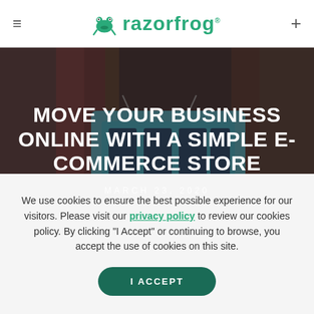razorfrog navigation header with hamburger menu and plus icon
[Figure (photo): An 'OPEN' hanging sign on a blurred background, used as hero image for the article about moving business online with a simple e-commerce store]
MOVE YOUR BUSINESS ONLINE WITH A SIMPLE E-COMMERCE STORE
MARCH 23, 2020
We use cookies to ensure the best possible experience for our visitors. Please visit our privacy policy to review our cookies policy. By clicking "I Accept" or continuing to browse, you accept the use of cookies on this site.